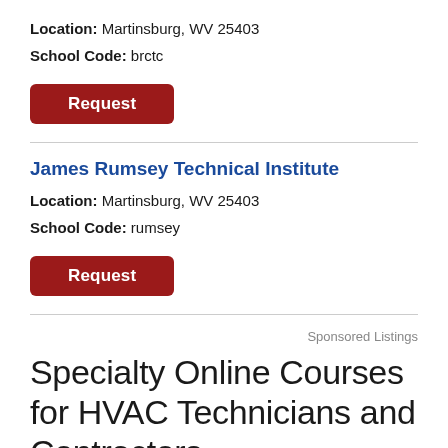Location: Martinsburg, WV 25403
School Code: brctc
Request
James Rumsey Technical Institute
Location: Martinsburg, WV 25403
School Code: rumsey
Request
Sponsored Listings
Specialty Online Courses for HVAC Technicians and Contractors
Another advantage to online HVAC courses is